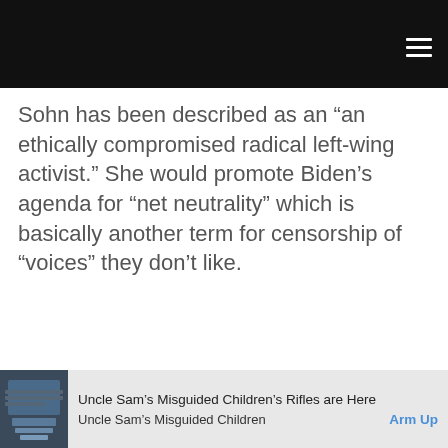[Navigation bar with hamburger menu]
Sohn has been described as an “an ethically compromised radical left-wing activist.” She would promote Biden’s agenda for “net neutrality” which is basically another term for censorship of “voices” they don’t like.
[Figure (photo): Advertisement banner: Uncle Sam's Misguided Children's Rifles are Here, with a product photo on the left and an Arm Up call-to-action link]